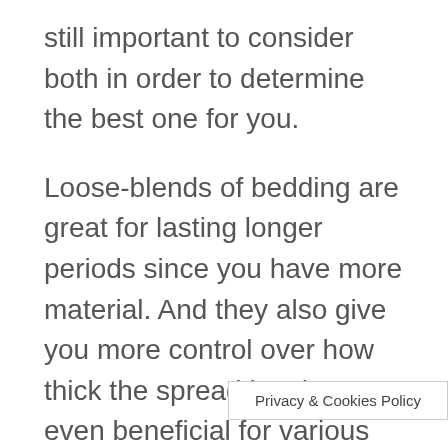still important to consider both in order to determine the best one for you.
Loose-blends of bedding are great for lasting longer periods since you have more material. And they also give you more control over how thick the spread is. They’re even beneficial for various types of animals and for various types of cages. Unfortunately, they can be more difficult to clean up, since they’re spread all over.
On the other hand...